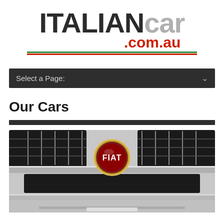[Figure (logo): ITALIANcar.com.au logo with green-white-red tricolor lines underneath]
Select a Page:
Our Cars
[Figure (photo): Close-up of a Fiat car front grille with the circular FIAT badge in the center, silver chrome trim]